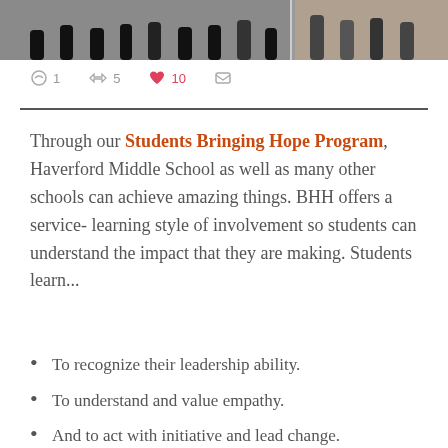[Figure (photo): Partial photo at top showing group of students/people standing together, cropped to show lower bodies and feet]
○ 1   ⟳ 5   ♥ 10   ✉
Through our Students Bringing Hope Program, Haverford Middle School as well as many other schools can achieve amazing things. BHH offers a service- learning style of involvement so students can understand the impact that they are making. Students learn...
To recognize their leadership ability.
To understand and value empathy.
And to act with initiative and lead change.